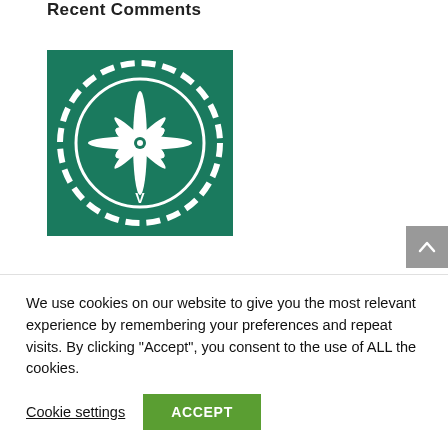Recent Comments
[Figure (logo): Green square logo with a white compass rose / cannabis leaf star design inside a dashed circle, with a small V mark at the bottom]
Archives
June 2021
We use cookies on our website to give you the most relevant experience by remembering your preferences and repeat visits. By clicking “Accept”, you consent to the use of ALL the cookies.
Cookie settings   ACCEPT